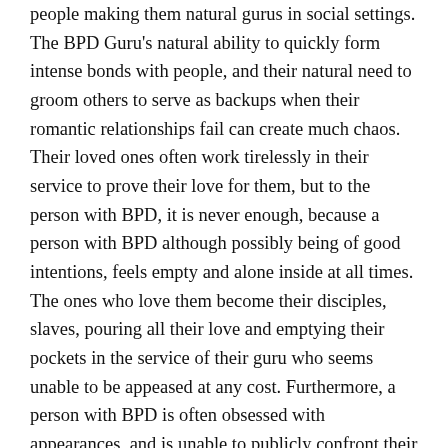people making them natural gurus in social settings. The BPD Guru's natural ability to quickly form intense bonds with people, and their natural need to groom others to serve as backups when their romantic relationships fail can create much chaos. Their loved ones often work tirelessly in their service to prove their love for them, but to the person with BPD, it is never enough, because a person with BPD although possibly being of good intentions, feels empty and alone inside at all times. The ones who love them become their disciples, slaves, pouring all their love and emptying their pockets in the service of their guru who seems unable to be appeased at any cost. Furthermore, a person with BPD is often obsessed with appearances, and is unable to publicly confront their own faults, so any attempts to point out their bad behaviors result in excommunication or wrath. To continue to stay close to this person means that you have to be willing to accept their lies and half truths. Out of necessity, BPD individuals learn to become gifted liars